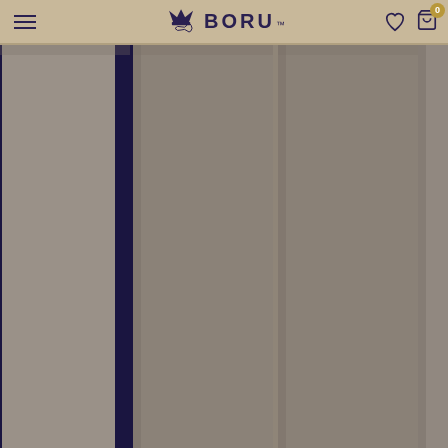BORU navigation header with hamburger menu, logo, wishlist and cart icons
[Figure (photo): Taupe/gray fabric curtain panels hanging vertically, showing multiple panels side by side with slight shadows between them. One panel on the left has a dark navy blue vertical stripe border.]